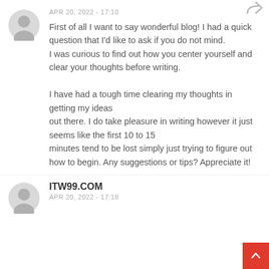[Figure (illustration): Gray circular user avatar icon, first comment]
APR 20, 2022 - 17:10
First of all I want to say wonderful blog! I had a quick question that I'd like to ask if you do not mind.
I was curious to find out how you center yourself and clear your thoughts before writing.

I have had a tough time clearing my thoughts in getting my ideas
out there. I do take pleasure in writing however it just seems like the first 10 to 15
minutes tend to be lost simply just trying to figure out how to begin. Any suggestions or tips? Appreciate it!
[Figure (illustration): Gray circular user avatar icon, second comment]
ITW99.COM
APR 20, 2022 - 17:18